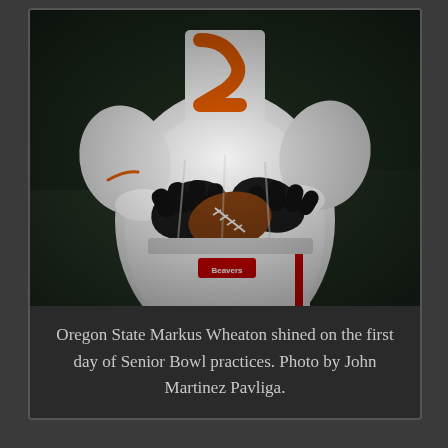[Figure (photo): Close-up photo of Oregon State football player Markus Wheaton in white uniform with orange number, wearing black gloves, holding a football against his chest during Senior Bowl practice.]
Oregon State Markus Wheaton shined on the first day of Senior Bowl practices. Photo by John Martinez Pavliga.